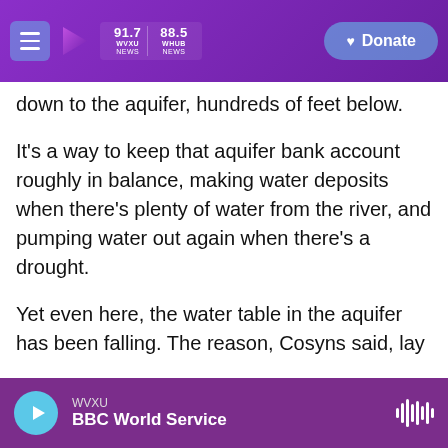WVXU 91.7 | WHUB 88.5 NEWS | Donate
down to the aquifer, hundreds of feet below.
It's a way to keep that aquifer bank account roughly in balance, making water deposits when there's plenty of water from the river, and pumping water out again when there's a drought.
Yet even here, the water table in the aquifer has been falling. The reason, Cosyns said, lay elsewhere. "The surrounding areas are pumping the water out from under us," he said.
Those farmers own land that's outside the irrigation district, and they don't get water from the
WVXU | BBC World Service